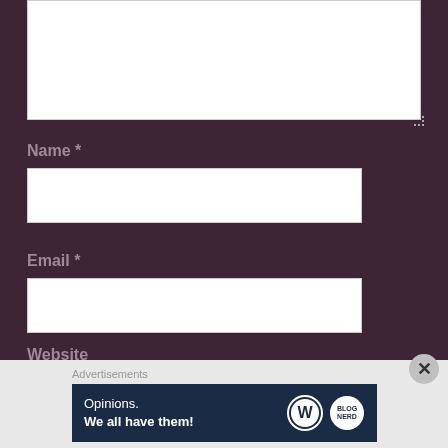[Figure (screenshot): Web form screenshot with dark purple background showing a comment textarea at top, followed by Name, Email, and Website input fields with labels in muted rose/grey color]
Name *
Email *
Website
Advertisements
[Figure (infographic): Dark navy advertisement banner reading 'Opinions. We all have them!' with WordPress and another circular logo on the right]